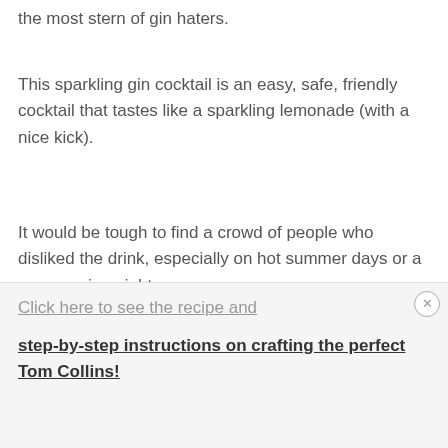the most stern of gin haters.
This sparkling gin cocktail is an easy, safe, friendly cocktail that tastes like a sparkling lemonade (with a nice kick).
It would be tough to find a crowd of people who disliked the drink, especially on hot summer days or a warm spring night.
This easy to craft fan favorite is sure to please anyone you serve it to.
Click here to see the recipe and step-by-step instructions on crafting the perfect Tom Collins!